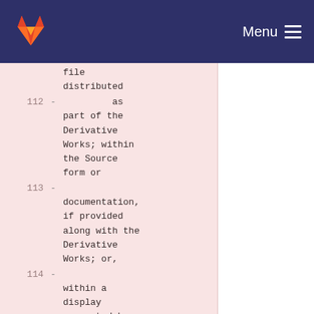Menu
file
 distributed
 112 -          as
 part of the
 Derivative
 Works; within
 the Source
 form or
 113 -
 documentation,
 if provided
 along with the
 Derivative
 Works; or,
 114 -
 within a
 display
 generated by
 the Derivative
 Works, if and